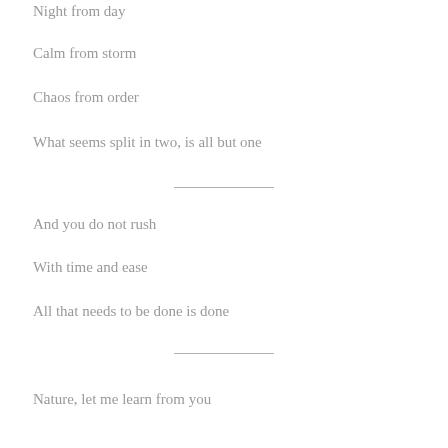Night from day
Calm from storm
Chaos from order
What seems split in two, is all but one
And you do not rush
With time and ease
All that needs to be done is done
Nature, let me learn from you